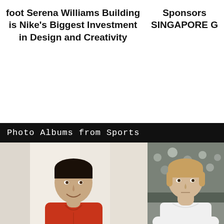foot Serena Williams Building is Nike's Biggest Investment in Design and Creativity
Sponsors SINGAPORE G
Photo Albums from Sports
[Figure (photo): Man in red shirt smiling, looking upward, against a light beige wall background]
[Figure (photo): Tennis player in white shirt with arms crossed, with crowd in background and BLI signage visible]